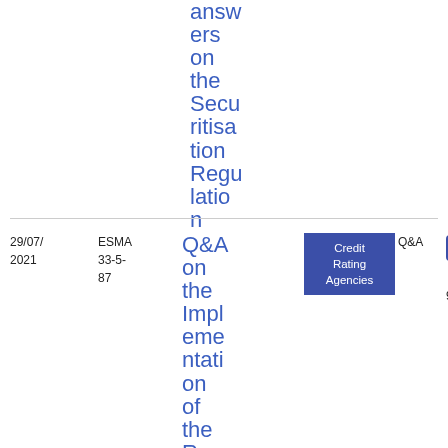answers on the Securitisation Regulation
| Date | Reference | Title | Tag | Type | File |
| --- | --- | --- | --- | --- | --- |
| 29/07/2021 | ESMA 33-5-87 | Q&A on the Implementation of the Regulation | Credit Rating Agencies | Q&A | PDF 409.83 KB |